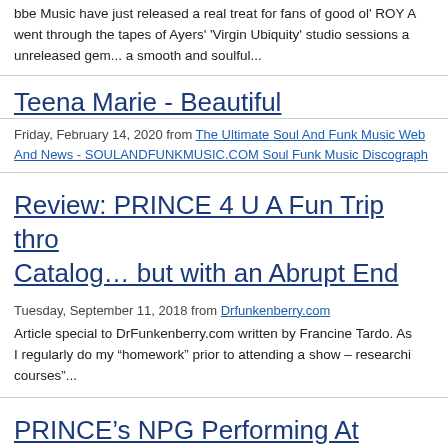bbe Music have just released a real treat for fans of good ol' ROY A... went through the tapes of Ayers' 'Virgin Ubiquity' studio sessions a... unreleased gem... a smooth and soulful...
Teena Marie - Beautiful
Friday, February 14, 2020 from The Ultimate Soul And Funk Music Web... And News - SOULANDFUNKMUSIC.COM Soul Funk Music Discograph...
Review: PRINCE 4 U A Fun Trip thro Catalog… but with an Abrupt End
Tuesday, September 11, 2018 from Drfunkenberry.com
Article special to DrFunkenberry.com written by Francine Tardo. As... I regularly do my “homework” prior to attending a show – researchi... courses"...
PRINCE’s NPG Performing At Legen... Sept. 13th For $31.21: World-Wide P...